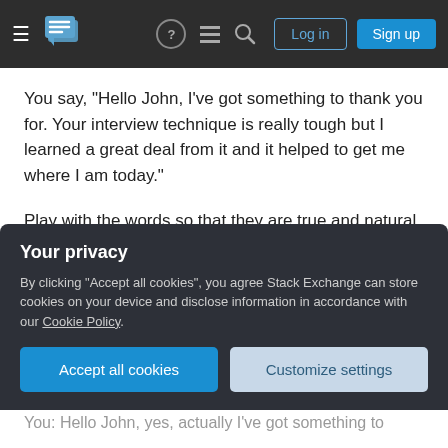Stack Exchange navigation bar with Log in and Sign up buttons
You say, "Hello John, I've got something to thank you for. Your interview technique is really tough but I learned a great deal from it and it helped to get me where I am today."
Play with the words so that they are true and natural.
The tweaks
(a) He tries to put you down (maybe in front of
Your privacy
By clicking "Accept all cookies", you agree Stack Exchange can store cookies on your device and disclose information in accordance with our Cookie Policy.
You: Hello John, yes, actually I've got something to